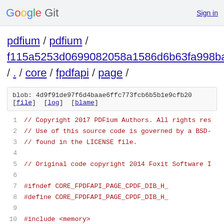Google Git  Sign in
pdfium / pdfium / f115a5253d0699082058a1586d6b63fa998ba39e / . / core / fpdfapi / page /
blob: 4d9f91de97f6d4baae6ffc773fcb6b5b1e9cfb20 [file] [log] [blame]
1   // Copyright 2017 PDFium Authors. All rights res
2   // Use of this source code is governed by a BSD-
3   // found in the LICENSE file.
4
5   // Original code copyright 2014 Foxit Software I
6
7   #ifndef CORE_FPDFAPI_PAGE_CPDF_DIB_H_
8   #define CORE_FPDFAPI_PAGE_CPDF_DIB_H_
9
10  #include <memory>